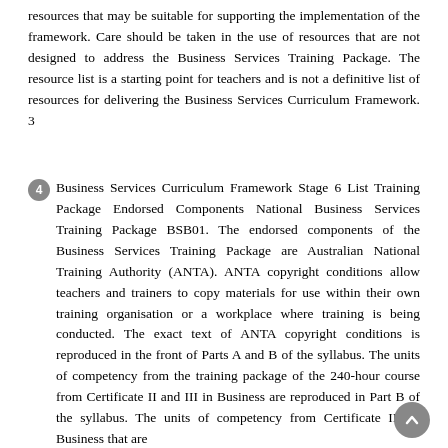resources that may be suitable for supporting the implementation of the framework. Care should be taken in the use of resources that are not designed to address the Business Services Training Package. The resource list is a starting point for teachers and is not a definitive list of resources for delivering the Business Services Curriculum Framework. 3
4 Business Services Curriculum Framework Stage 6 List Training Package Endorsed Components National Business Services Training Package BSB01. The endorsed components of the Business Services Training Package are Australian National Training Authority (ANTA). ANTA copyright conditions allow teachers and trainers to copy materials for use within their own training organisation or a workplace where training is being conducted. The exact text of ANTA copyright conditions is reproduced in the front of Parts A and B of the syllabus. The units of competency from the training package of the 240-hour course from Certificate II and III in Business are reproduced in Part B of the syllabus. The units of competency from Certificate III in Business that are